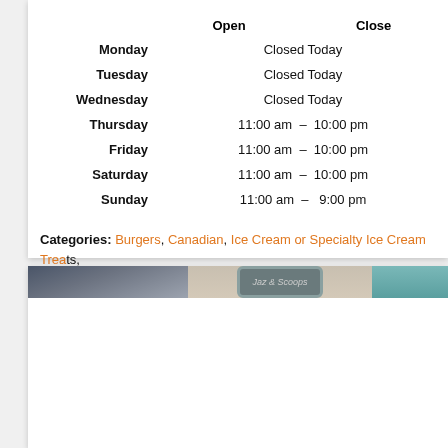|  | Open | Close |
| --- | --- | --- |
| Monday | Closed Today |  |
| Tuesday | Closed Today |  |
| Wednesday | Closed Today |  |
| Thursday | 11:00 am | 10:00 pm |
| Friday | 11:00 am | 10:00 pm |
| Saturday | 11:00 am | 10:00 pm |
| Sunday | 11:00 am | 9:00 pm |
Categories: Burgers, Canadian, Ice Cream or Specialty Ice Cream Treats, Ipperwash, Open, Patio, Pizza, Seafood & Fish 'N Chips, Takeout
Show Notes
Show Map |
[Figure (photo): Partial view of a storefront with a sign reading 'Jaz & Scoops' and teal/blue accents]